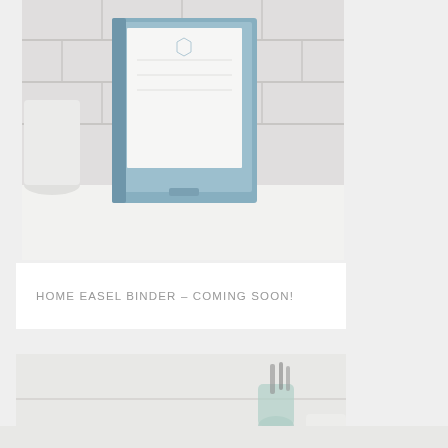[Figure (photo): Photo of a blue easel binder with white paper on a white tile background countertop]
HOME EASEL BINDER – COMING SOON!
[Figure (photo): Photo of a blue recipe card box with colorful tabbed cards inside, sitting on a white kitchen countertop with blurred background. Box reads 'menu planning made easy larder revival']